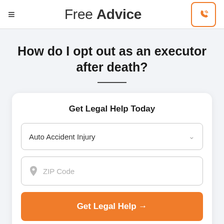Free Advice
How do I opt out as an executor after death?
Get Legal Help Today
Auto Accident Injury
ZIP Code
Get Legal Help →